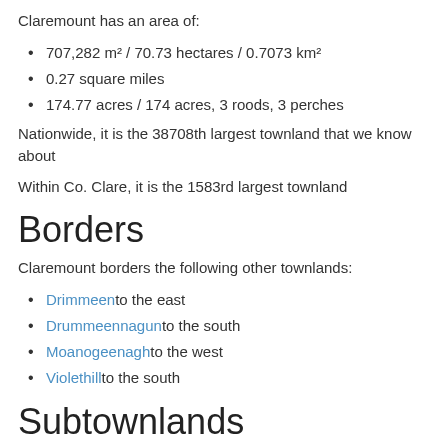Claremount has an area of:
707,282 m² / 70.73 hectares / 0.7073 km²
0.27 square miles
174.77 acres / 174 acres, 3 roods, 3 perches
Nationwide, it is the 38708th largest townland that we know about
Within Co. Clare, it is the 1583rd largest townland
Borders
Claremount borders the following other townlands:
Drimmeen to the east
Drummeennagun to the south
Moanogeenagh to the west
Violethill to the south
Subtownlands
We don't know about any subtownlands in Claremount.
Genealogy / Ancestry /